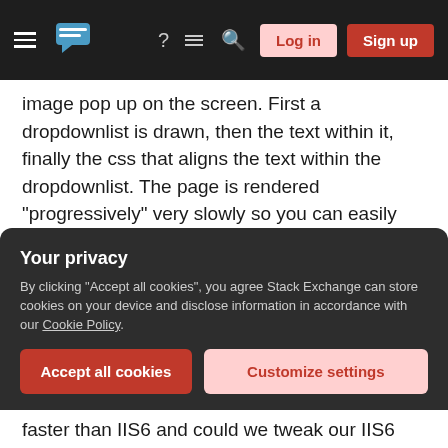Stack Exchange navigation bar with hamburger menu, logo, help, chat, search icons, Log in and Sign up buttons
image pop up on the screen. First a dropdownlist is drawn, then the text within it, finally the css that aligns the text within the dropdownlist. The page is rendered "progressively" very slowly so you can easily follow the rendering order.
We have some indications that compression could be the cause since IIS7 by default enables some compression that IIS6 doesn't.
Unfortunately I cannot provide any links or demos of this behaviour since it is a closed system.
Your privacy
By clicking "Accept all cookies", you agree Stack Exchange can store cookies on your device and disclose information in accordance with our Cookie Policy.
Accept all cookies
Customize settings
faster than IIS6 and could we tweak our IIS6 setup